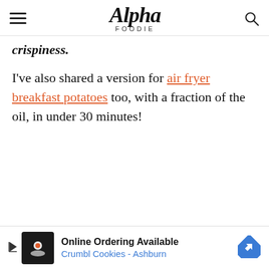Alpha Foodie
crispiness.
I've also shared a version for air fryer breakfast potatoes too, with a fraction of the oil, in under 30 minutes!
[Figure (other): Advertisement banner: Online Ordering Available - Crumbl Cookies - Ashburn]